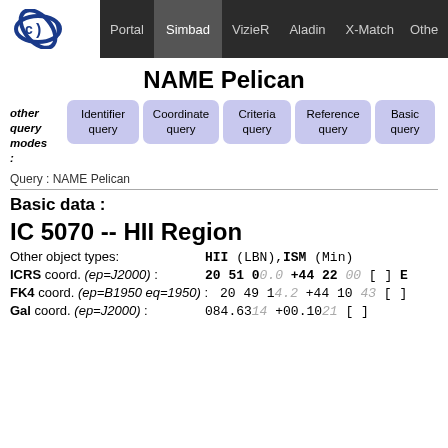Portal | Simbad | VizieR | Aladin | X-Match | Other
NAME Pelican
other query modes: Identifier query | Coordinate query | Criteria query | Reference query | Basic query
Query : NAME Pelican
Basic data :
IC 5070 -- HII Region
Other object types: HII (LBN), ISM (Min)
ICRS coord. (ep=J2000) : 20 51 00.0 +44 22 00 [ ] E
FK4 coord. (ep=B1950 eq=1950) : 20 49 14.2 +44 10 43 [ ]
Gal coord. (ep=J2000) : 084.6314 +00.1021 [ ]